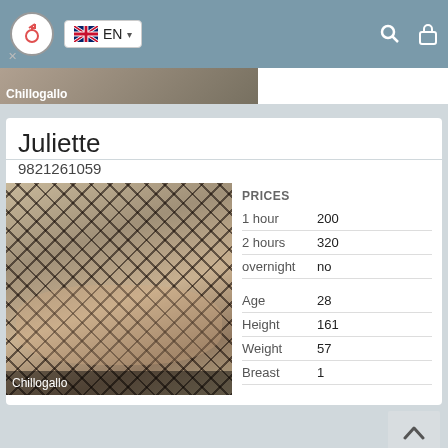[Figure (screenshot): Navigation bar with gender/search icon, EN language selector with UK flag, search and lock icons on right]
[Figure (photo): Partial card strip showing 'Chillogallo' location label over a thumbnail image]
Juliette
9821261059
[Figure (photo): Close-up photo of legs in fishnet stockings, with 'Chillogallo' label at bottom]
| PRICES |  |
| --- | --- |
| 1 hour | 200 |
| 2 hours | 320 |
| overnight | no |
|  |  |
| Age | 28 |
| Height | 161 |
| Weight | 57 |
| Breast | 1 |